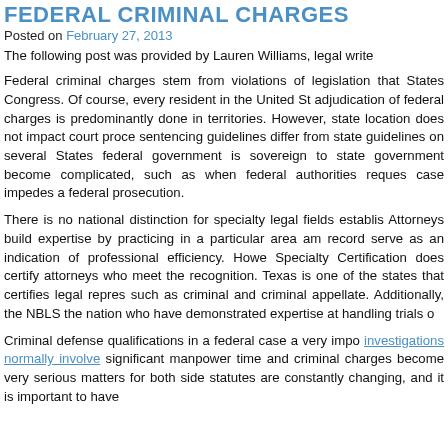FEDERAL CRIMINAL CHARGES
Posted on February 27, 2013
The following post was provided by Lauren Williams, legal write...
Federal criminal charges stem from violations of legislation that... States Congress. Of course, every resident in the United St... adjudication of federal charges is predominantly done in ... territories. However, state location does not impact court proce... sentencing guidelines differ from state guidelines on several... States federal government is sovereign to state government... become complicated, such as when federal authorities reques... case impedes a federal prosecution.
There is no national distinction for specialty legal fields establis... Attorneys build expertise by practicing in a particular area am... record serve as an indication of professional efficiency. Howe... Specialty Certification does certify attorneys who meet the... recognition. Texas is one of the states that certifies legal repres... such as criminal and criminal appellate. Additionally, the NBLS... the nation who have demonstrated expertise at handling trials o...
Criminal defense qualifications in a federal case a very impo... investigations normally involve significant manpower time and ... criminal charges become very serious matters for both side... statutes are constantly changing, and it is important to have...